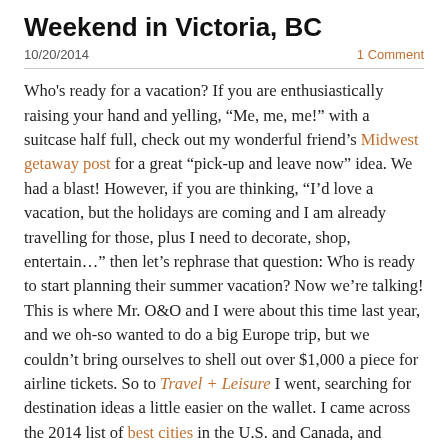Weekend in Victoria, BC
10/20/2014   1 Comment
Who's ready for a vacation? If you are enthusiastically raising your hand and yelling, “Me, me, me!” with a suitcase half full, check out my wonderful friend’s Midwest getaway post for a great “pick-up and leave now” idea. We had a blast! However, if you are thinking, “I’d love a vacation, but the holidays are coming and I am already travelling for those, plus I need to decorate, shop, entertain…” then let’s rephrase that question: Who is ready to start planning their summer vacation? Now we’re talking! This is where Mr. O&O and I were about this time last year, and we oh-so wanted to do a big Europe trip, but we couldn’t bring ourselves to shell out over $1,000 a piece for airline tickets. So to Travel + Leisure I went, searching for destination ideas a little easier on the wallet. I came across the 2014 list of best cities in the U.S. and Canada, and Vancouver, BC, caught my eye. A quick Kayak search revealed tickets to be half as much as those to Europe, and after recalling some great reviews our close friends gave Victoria after their honeymoon, we decided: British Columbia, here we come! We ended up doing a 6-day combination Victoria/Vancouver trip, but I’ll just cover Victoria